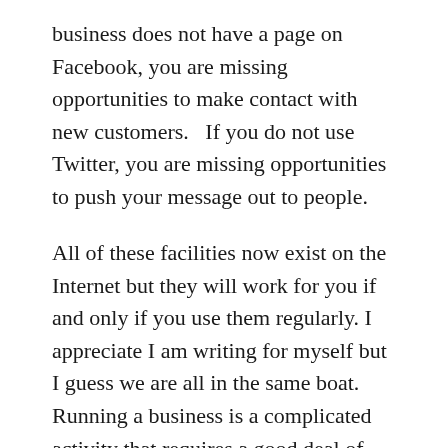business does not have a page on Facebook, you are missing opportunities to make contact with new customers.   If you do not use Twitter, you are missing opportunities to push your message out to people.
All of these facilities now exist on the Internet but they will work for you if and only if you use them regularly. I appreciate I am writing for myself but I guess we are all in the same boat. Running a business is a complicated activity that requires a good deal of dedication and considerable agility with personal time management.
If you have a blog, you should go on it and post at least once a month. If your blog is simply one of a